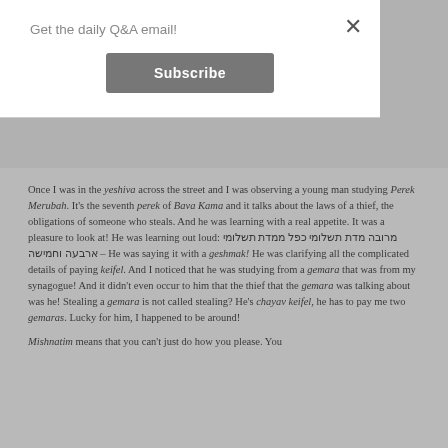Get the daily Q&A email!
Subscribe
Once I was in the yeshiva across the street and I was observing a young man studying Perek Merubah. It's the seventh perek of Bava Kama and it talks about the laws of a thief, the obligations of someone who steals. And he was learning with a real appetite. It was a pleasure to look at! He was learning out loud: מרובה מדת תשלומי כפל ממדת תשלומי ארבעה וחמישה – He was saying it with a geshmak! He was clarifying all the complicated details of paying keifel. And I noticed that he was studying from a gemara that was from my synagogue! And it didn't even occur to him that the thief that the gemara was talking about was he! Stealing a gemara is not called stealing? He's chayav keifel, he has to pay me two gemaras. Lucky for him, I happened to be around!
Mishnatim means that you can't just do how you please. You